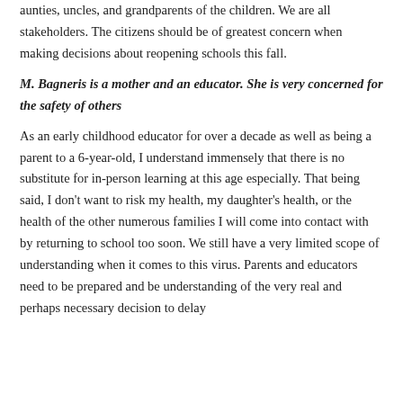aunties, uncles, and grandparents of the children. We are all stakeholders. The citizens should be of greatest concern when making decisions about reopening schools this fall.
M. Bagneris is a mother and an educator. She is very concerned for the safety of others
As an early childhood educator for over a decade as well as being a parent to a 6-year-old, I understand immensely that there is no substitute for in-person learning at this age especially. That being said, I don't want to risk my health, my daughter's health, or the health of the other numerous families I will come into contact with by returning to school too soon. We still have a very limited scope of understanding when it comes to this virus. Parents and educators need to be prepared and be understanding of the very real and perhaps necessary decision to delay